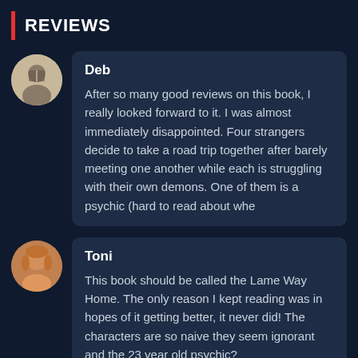REVIEWS
Deb

After so many good reviews on this book, I really looked forward to it. I was almost immediately disappointed. Four strangers decide to take a road trip together after barely meeting one another while each is struggling with their own demons. One of them is a psychic (hard to read about whe
Toni

This book should be called the Lame Way Home. The only reason I kept reading was in hopes of it getting better, it never did! The characters are so naive they seem ignorant and the 23 year old psychic?